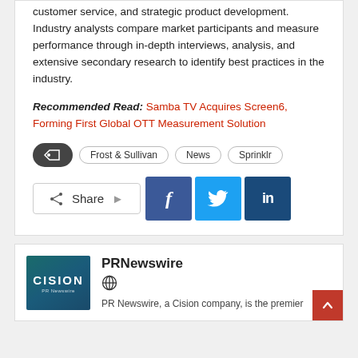customer service, and strategic product development. Industry analysts compare market participants and measure performance through in-depth interviews, analysis, and extensive secondary research to identify best practices in the industry.
Recommended Read: Samba TV Acquires Screen6, Forming First Global OTT Measurement Solution
Frost & Sullivan
News
Sprinklr
[Figure (infographic): Share buttons: Facebook, Twitter, LinkedIn]
[Figure (logo): Cision PR Newswire logo]
PRNewswire
PR Newswire, a Cision company, is the premier